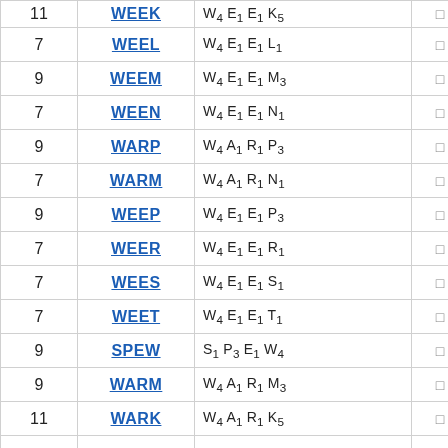| Points | Word | Formula |  |  |
| --- | --- | --- | --- | --- |
| 11 | WEEK | W₄ E₁ E₁ K₅ | □ | □ |
| 7 | WEEL | W₄ E₁ E₁ L₁ | □ | □ |
| 9 | WEEM | W₄ E₁ E₁ M₃ | □ | □ |
| 7 | WEEN | W₄ E₁ E₁ N₁ | □ | □ |
| 9 | WARP | W₄ A₁ R₁ P₃ | □ | □ |
| 7 | WARM | W₄ A₁ R₁ N₁ | □ | □ |
| 9 | WEEP | W₄ E₁ E₁ P₃ | □ | □ |
| 7 | WEER | W₄ E₁ E₁ R₁ | □ | □ |
| 7 | WEES | W₄ E₁ E₁ S₁ | □ | □ |
| 7 | WEET | W₄ E₁ E₁ T₁ | □ | □ |
| 9 | SPEW | S₁ P₃ E₁ W₄ | □ | □ |
| 9 | WARM | W₄ A₁ R₁ M₃ | □ | □ |
| 11 | WARK | W₄ A₁ R₁ K₅ | □ | □ |